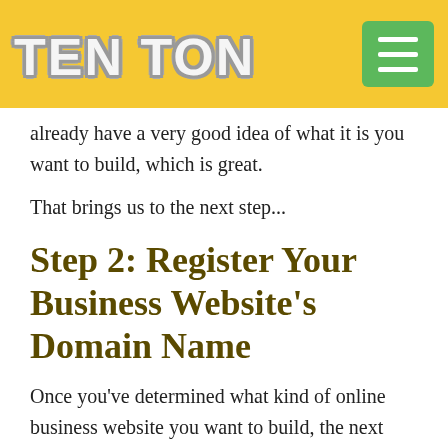TEN TON
already have a very good idea of what it is you want to build, which is great.
That brings us to the next step...
Step 2: Register Your Business Website's Domain Name
Once you've determined what kind of online business website you want to build, the next step is to register your business's domain name. If you don't know, your website domain name is simply the URL or the web address that visitors will type into their web browser to navigate to your website.
Your website domain name is simply the...